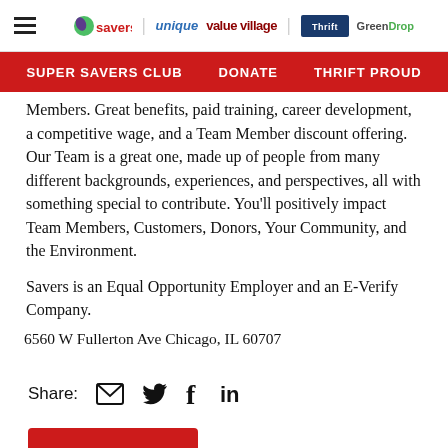Savers | unique | value village | Thrift | GreenDrop — navigation header with hamburger menu
SUPER SAVERS CLUB   DONATE   THRIFT PROUD
Members. Great benefits, paid training, career development, a competitive wage, and a Team Member discount offering. Our Team is a great one, made up of people from many different backgrounds, experiences, and perspectives, all with something special to contribute. You'll positively impact Team Members, Customers, Donors, Your Community, and the Environment.
Savers is an Equal Opportunity Employer and an E-Verify Company.
6560 W Fullerton Ave Chicago, IL 60707
Share:
[Figure (infographic): Share icons: email envelope, Twitter bird, Facebook f, LinkedIn in]